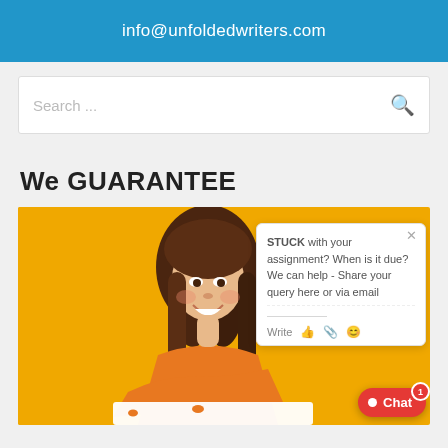info@unfoldedwriters.com
Search ...
We GUARANTEE
[Figure (photo): Smiling young woman in orange/yellow top against bright yellow background, leaning on a white surface. Overlaid chat popup widget saying: STUCK with your assignment? When is it due? We can help - Share your query here or via email. Write [icons]. Red Chat button with badge 1 in bottom right.]